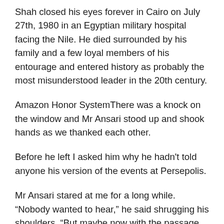Shah closed his eyes forever in Cairo on July 27th, 1980 in an Egyptian military hospital facing the Nile. He died surrounded by his family and a few loyal members of his entourage and entered history as probably the most misunderstood leader in the 20th century.
Amazon Honor SystemThere was a knock on the window and Mr Ansari stood up and shook hands as we thanked each other.
Before he left I asked him why he hadn't told anyone his version of the events at Persepolis.
Mr Ansari stared at me for a long while. “Nobody wanted to hear,” he said shrugging his shoulders. “But maybe now with the passage of years it is time to break our silence.”